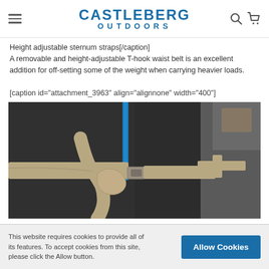CASTLEBERG OUTDOORS
Height adjustable sternum straps[/caption]
A removable and height-adjustable T-hook waist belt is an excellent addition for off-setting some of the weight when carrying heavier loads.
[caption id="attachment_3963" align="alignnone" width="400"]
[Figure (photo): Close-up photo of a backpack T-hook waist belt buckle with tan/beige straps against dark grey backpack fabric with a blue zipper visible in the background.]
This website requires cookies to provide all of its features. To accept cookies from this site, please click the Allow button.